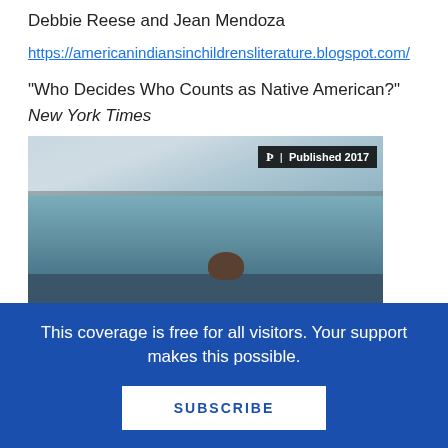Debbie Reese and Jean Mendoza
https://americanindiansinchildrensliterature.blogspot.com/
“Who Decides Who Counts as Native American?” New York Times
[Figure (photo): Photograph showing a waterscape with sky and clouds in the background, a distant land horizon, calm water, and a partial figure/person in the foreground bottom center. A badge overlay in top-right reads 'Þ | Published 2017'.]
This coverage is free for all visitors. Your support makes this possible.
SUBSCRIBE